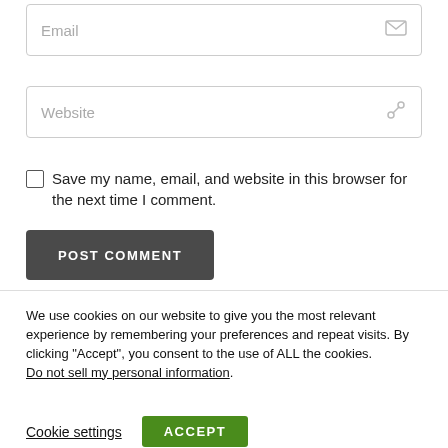Email (input field placeholder)
Website (input field placeholder)
Save my name, email, and website in this browser for the next time I comment.
POST COMMENT
We use cookies on our website to give you the most relevant experience by remembering your preferences and repeat visits. By clicking “Accept”, you consent to the use of ALL the cookies. Do not sell my personal information.
Cookie settings
ACCEPT